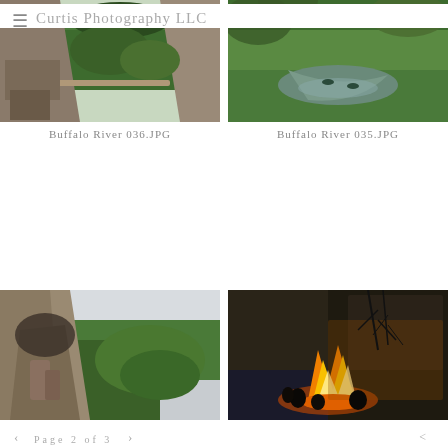Curtis Photography LLC
[Figure (photo): View from inside a rocky cave/bluff looking out over a green wooded valley with a stone arch bridge visible below, Buffalo River area]
Buffalo River 036.JPG
[Figure (photo): Aerial view of a river winding through dense green forest with two kayakers visible on the water]
Buffalo River 035.JPG
[Figure (photo): View from inside a cave/bluff overhang looking out over a deep wooded gorge, rocky formations in foreground]
[Figure (photo): Nighttime campfire scene with people sitting around a large fire against rocky cliff wall, orange glow illuminating the scene]
Buffalo River 030.JPG
Page 2 of 3